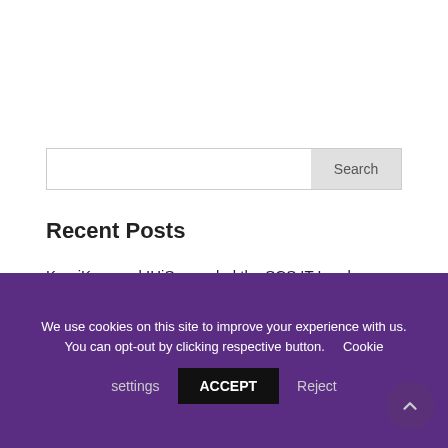[Figure (other): Search bar with text input field and Search button]
Recent Posts
KroniKare and IHiS awarded the SCS IT Leaders Awards 2021 (Entrepreneurship) for iThermo development
Ongoing Trials
We use cookies on this site to improve your experience with us. You can opt-out by clicking respective button. Cookie settings ACCEPT Reject